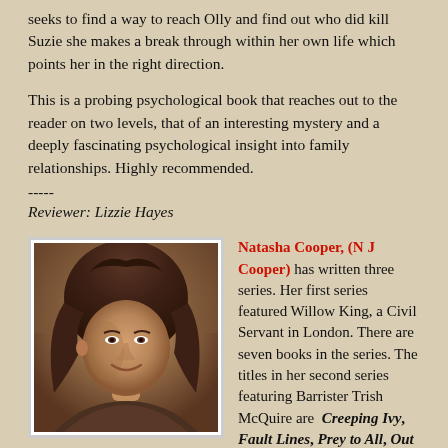seeks to find a way to reach Olly and find out who did kill Suzie she makes a break through within her own life which points her in the right direction.
This is a probing psychological book that reaches out to the reader on two levels, that of an interesting mystery and a deeply fascinating psychological insight into family relationships. Highly recommended.
-----
Reviewer: Lizzie Hayes
[Figure (photo): Portrait photo of a woman with dark curly hair, smiling, indoor background]
Natasha Cooper, (N J Cooper) has written three series. Her first series featured Willow King, a Civil Servant in London. There are seven books in the series. The titles in her second series featuring Barrister Trish McQuire are Creeping Ivy, Fault Lines, Prey to All, Out of the Dark, Keep Me Alive,